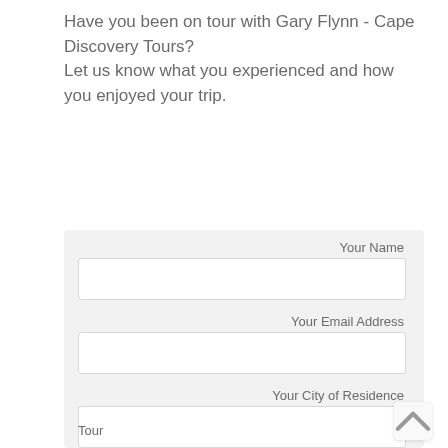Have you been on tour with Gary Flynn - Cape Discovery Tours?
Let us know what you experienced and how you enjoyed your trip.
Your Name
[Figure (other): Text input field for Your Name (empty white box)]
Your Email Address
[Figure (other): Text input field for Your Email Address (empty white box)]
Your City of Residence
[Figure (other): Text input field for Your City of Residence (empty white box)]
Tour